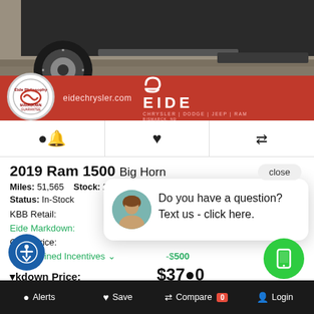[Figure (photo): Truck/SUV vehicle photo showing undercarriage, wheel, and ground from dealership listing]
[Figure (logo): Eide Chrysler dealership banner with logo circle, eidechrysler.com text, and EIDE Chrysler Dodge Jeep Ram branding on red background]
[Figure (other): Icon row with bell/alert, heart/save, and compare arrows icons]
2019 Ram 1500 Big Horn
Miles: 51,565   Stock: 212736   VIN: 1C6SRFFT4KN663796
Status: In-Stock
KBB Retail:
Eide Markdown:
Cash Price:
Combined Incentives ˅   -$500
Markdown Price:   $37_0
Eide CDJR Bismarck
[Figure (photo): Chat popup with woman avatar and text: Do you have a question? Text us - click here.]
close
Alerts   Save   Compare 0   Login